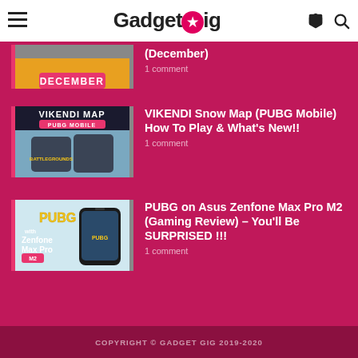GadgetGig
[Figure (screenshot): Thumbnail with DECEMBER label on pink background]
(December)
1 comment
[Figure (screenshot): VIKENDI MAP PUBG MOBILE thumbnail with snow map background]
VIKENDI Snow Map (PUBG Mobile) How To Play & What's New!!
1 comment
[Figure (screenshot): PUBG with Zenfone Max Pro M2 thumbnail]
PUBG on Asus Zenfone Max Pro M2 (Gaming Review) – You'll Be SURPRISED !!!
1 comment
COPYRIGHT © GADGET GIG 2019-2020